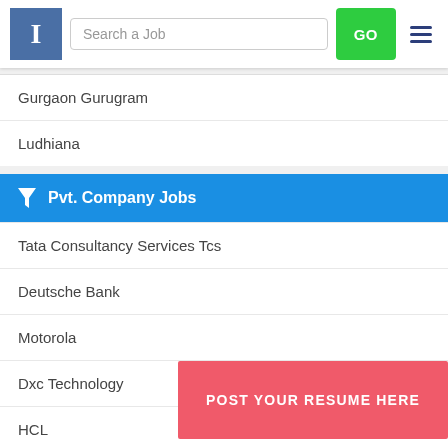I | Search a Job | GO
Gurgaon Gurugram
Ludhiana
Pvt. Company Jobs
Tata Consultancy Services Tcs
Deutsche Bank
Motorola
Dxc Technology
HCL
POST YOUR RESUME HERE